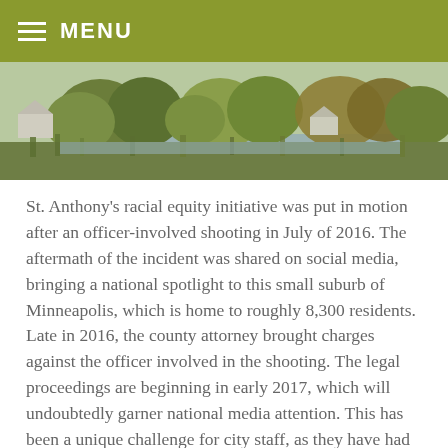MENU
[Figure (photo): Panoramic photo of a wetland or pond area with trees and houses in the background, taken in autumn.]
St. Anthony's racial equity initiative was put in motion after an officer-involved shooting in July of 2016. The aftermath of the incident was shared on social media, bringing a national spotlight to this small suburb of Minneapolis, which is home to roughly 8,300 residents. Late in 2016, the county attorney brought charges against the officer involved in the shooting. The legal proceedings are beginning in early 2017, which will undoubtedly garner national media attention. This has been a unique challenge for city staff, as they have had to learn how to navigate media attention, public relations, legal matters and community relations in